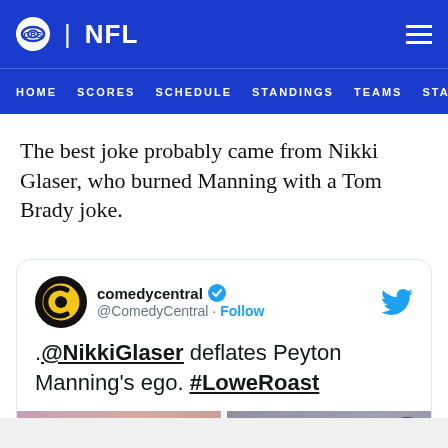CBS | NFL — HOME  SCORES  SCHEDULE  STANDINGS  TEAMS  STATS
The best joke probably came from Nikki Glaser, who burned Manning with a Tom Brady joke.
[Figure (screenshot): Embedded tweet from @ComedyCentral with verified badge. Tweet text: '.@NikkiGlaser deflates Peyton Manning's ego. #LoweRoast'. Below tweet text is a two-panel image with #LOWEROAST watermark showing a smiling blonde woman on the left and Peyton Manning on the right with Comedy Central logo.]